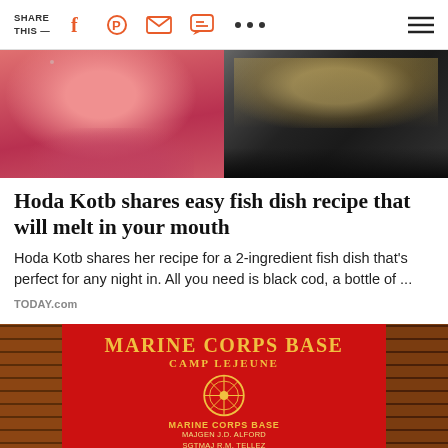SHARE THIS —
[Figure (photo): Left: woman in pink sleeveless top with microphone. Right: fish dish being cooked on dark pan, close-up.]
Hoda Kotb shares easy fish dish recipe that will melt in your mouth
Hoda Kotb shares her recipe for a 2-ingredient fish dish that's perfect for any night in. All you need is black cod, a bottle of ...
TODAY.com
[Figure (photo): Marine Corps Base Camp Lejeune sign — large red billboard with gold lettering, flanked by brick pillars, with various military unit badges/emblems displayed.]